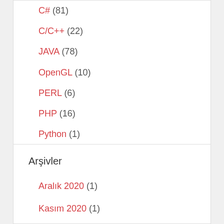C# (81)
C/C++ (22)
JAVA (78)
OpenGL (10)
PERL (6)
PHP (16)
Python (1)
Arşivler
Aralık 2020 (1)
Kasım 2020 (1)
Ekim 2020 (2)